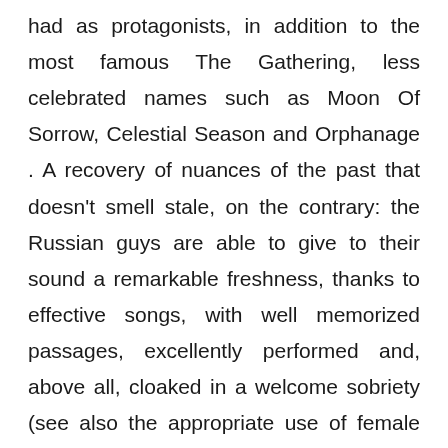had as protagonists, in addition to the most famous The Gathering, less celebrated names such as Moon Of Sorrow, Celestial Season and Orphanage . A recovery of nuances of the past that doesn't smell stale, on the contrary: the Russian guys are able to give to their sound a remarkable freshness, thanks to effective songs, with well memorized passages, excellently performed and, above all, cloaked in a welcome sobriety (see also the appropriate use of female vocal inserts), in the sense that they never resort to overflowing solutions to try to impress at any cost. Therefore, lovers of the genre will enjoy the